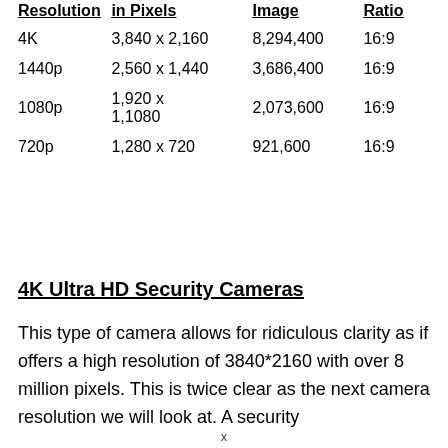| Resolution | in Pixels | Image | Ratio |
| --- | --- | --- | --- |
| 4K | 3,840 x 2,160 | 8,294,400 | 16:9 |
| 1440p | 2,560 x 1,440 | 3,686,400 | 16:9 |
| 1080p | 1,920 x 1,1080 | 2,073,600 | 16:9 |
| 720p | 1,280 x 720 | 921,600 | 16:9 |
4K Ultra HD Security Cameras
This type of camera allows for ridiculous clarity as if offers a high resolution of 3840*2160 with over 8 million pixels. This is twice clear as the next camera resolution we will look at. A security